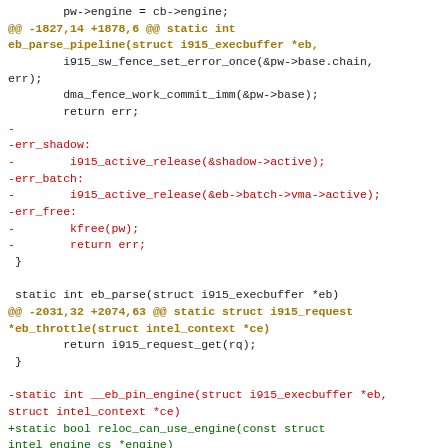Code diff showing changes to i915 kernel driver functions including eb_parse_pipeline, eb_parse, eb_throttle, and __eb_pin_engine/reloc_can_use_engine